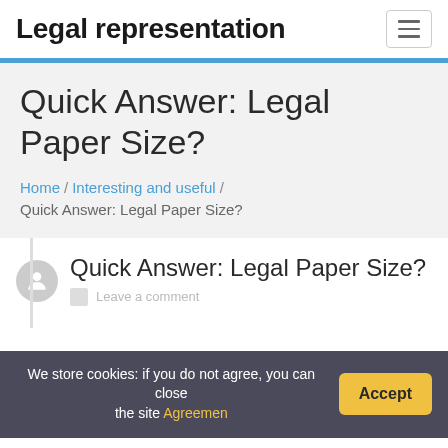Legal representation
Quick Answer: Legal Paper Size?
Home / Interesting and useful / Quick Answer: Legal Paper Size?
Quick Answer: Legal Paper Size?
Leave a comment
We store cookies: if you do not agree, you can close the site Agreemen